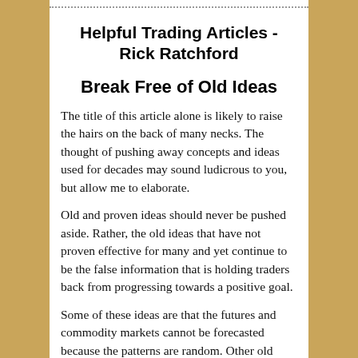Helpful Trading Articles - Rick Ratchford
Break Free of Old Ideas
The title of this article alone is likely to raise the hairs on the back of many necks. The thought of pushing away concepts and ideas used for decades may sound ludicrous to you, but allow me to elaborate.
Old and proven ideas should never be pushed aside. Rather, the old ideas that have not proven effective for many and yet continue to be the false information that is holding traders back from progressing towards a positive goal.
Some of these ideas are that the futures and commodity markets cannot be forecasted because the patterns are random. Other old ideas are that you cannot